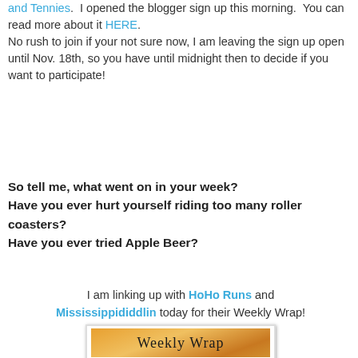and Tennies.  I opened the blogger sign up this morning.  You can read more about it HERE. No rush to join if your not sure now, I am leaving the sign up open until Nov. 18th, so you have until midnight then to decide if you want to participate!
So tell me, what went on in your week?
Have you ever hurt yourself riding too many roller coasters?
Have you ever tried Apple Beer?
I am linking up with HoHo Runs and Mississippididdlin today for their Weekly Wrap!
[Figure (photo): Weekly Wrap image with sunset background and handwritten-style 'Weekly Wrap' text]